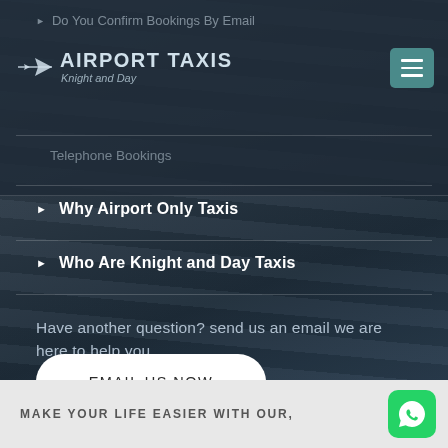[Figure (screenshot): Airport Taxis Knight and Day website screenshot showing navigation menu with airplane logo, teal hamburger menu button, faded menu items, and expandable FAQ items]
Do You Confirm Bookings By Email
AIRPORT TAXIS Knight and Day
Telephone Bookings
Why Airport Only Taxis
Who Are Knight and Day Taxis
Have another question? send us an email we are here to help you.
EMAIL US NOW
MAKE YOUR LIFE EASIER WITH OUR,